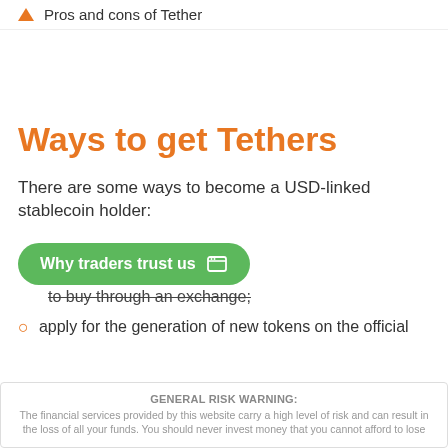Pros and cons of Tether
Ways to get Tethers
There are some ways to become a USD-linked stablecoin holder:
[Figure (other): Green rounded button overlay with text 'Why traders trust us' and a browser/window icon]
to buy through an exchange;
apply for the generation of new tokens on the official
GENERAL RISK WARNING: The financial services provided by this website carry a high level of risk and can result in the loss of all your funds. You should never invest money that you cannot afford to lose